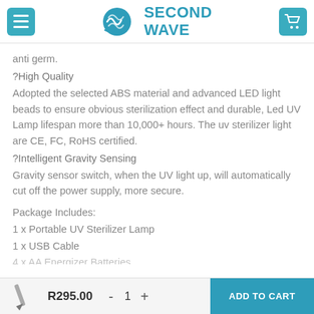Second Wave - navigation header with menu and cart buttons
anti germ.
?High Quality
Adopted the selected ABS material and advanced LED light beads to ensure obvious sterilization effect and durable, Led UV Lamp lifespan more than 10,000+ hours. The uv sterilizer light are CE, FC, RoHS certified.
?Intelligent Gravity Sensing
Gravity sensor switch, when the UV light up, will automatically cut off the power supply, more secure.
Package Includes:
1 x Portable UV Sterilizer Lamp
1 x USB Cable
4 x AA Energizer Batteries
R295.00  -  1  +  ADD TO CART